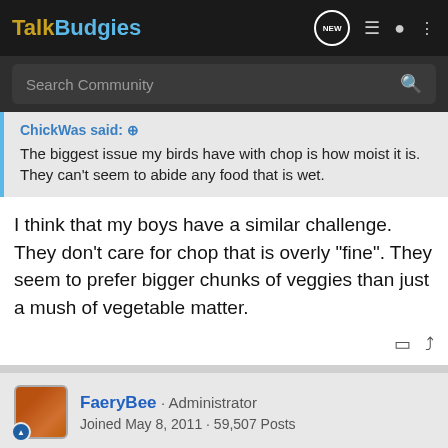TalkBudgies
Search Community
ChickWas said: ↗
The biggest issue my birds have with chop is how moist it is. They can't seem to abide any food that is wet.
I think that my boys have a similar challenge. They don't care for chop that is overly "fine". They seem to prefer bigger chunks of veggies than just a mush of vegetable matter.
FaeryBee · Administrator
Joined May 8, 2011 · 59,507 Posts
#6 · May 16, 2022